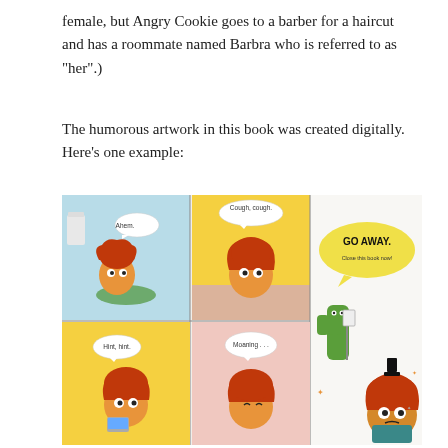female, but Angry Cookie goes to a barber for a haircut and has a roommate named Barbra who is referred to as "her".)
The humorous artwork in this book was created digitally. Here's one example:
[Figure (illustration): A page spread from the children's book showing four comic-style panels on the left depicting a cartoon cookie character with messy red hair in various scenes (bathroom, getting a haircut, reading, etc.) with speech bubbles saying 'Ahem.', 'Cough, cough.', 'Hint, hint.', 'Moaning...'. On the right half is a large panel showing a green cactus-like character holding a clipboard next to a yellow speech bubble saying 'GO AWAY. Close this book now!' with the cookie character at the bottom right.]